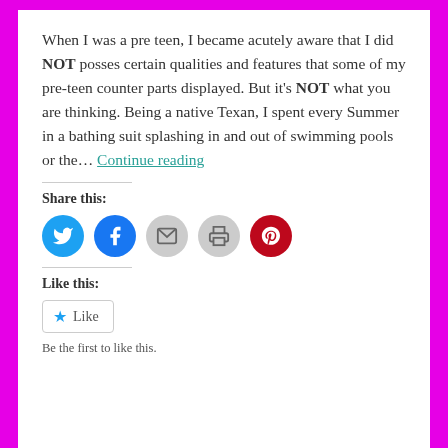When I was a pre teen, I became acutely aware that I did NOT posses certain qualities and features that some of my pre-teen counter parts displayed. But it's NOT what you are thinking. Being a native Texan, I spent every Summer in a bathing suit splashing in and out of swimming pools or the... Continue reading
Share this:
[Figure (infographic): Social sharing icons: Twitter (blue circle), Facebook (blue circle), Email (grey circle), Print (grey circle), Pinterest (red circle)]
Like this:
Like
Be the first to like this.